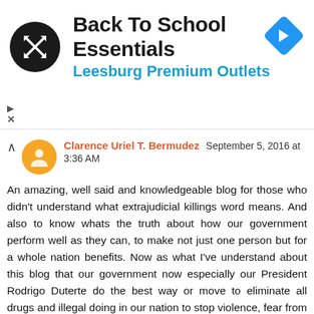[Figure (other): Advertisement banner for Back To School Essentials at Leesburg Premium Outlets, with a black circular logo featuring crossed arrows, blue text subtitle, and a blue diamond navigation icon on the right.]
Clarence Uriel T. Bermudez September 5, 2016 at 3:36 AM
An amazing, well said and knowledgeable blog for those who didn't understand what extrajudicial killings word means. And also to know whats the truth about how our government perform well as they can, to make not just one person but for a whole nation benefits. Now as what I've understand about this blog that our government now especially our President Rodrigo Duterte do the best way or move to eliminate all drugs and illegal doing in our nation to stop violence, fear from crimes, cleanliness, and to create a thinking especially for those who want to invest in the safe country. I am thankful about how our government perform now as what our head state did. On the other-hand for our dear human rights and